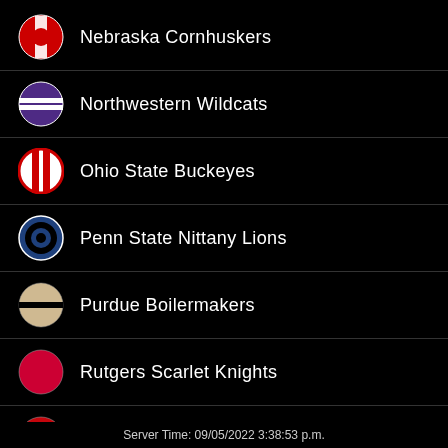Nebraska Cornhuskers
Northwestern Wildcats
Ohio State Buckeyes
Penn State Nittany Lions
Purdue Boilermakers
Rutgers Scarlet Knights
Wisconsin Badgers
BIG WEST
Server Time: 09/05/2022 3:38:53 p.m.